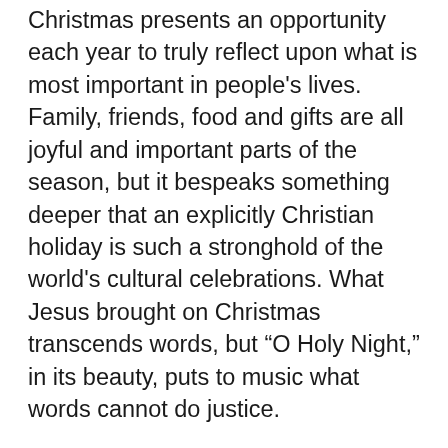Christmas presents an opportunity each year to truly reflect upon what is most important in people's lives. Family, friends, food and gifts are all joyful and important parts of the season, but it bespeaks something deeper that an explicitly Christian holiday is such a stronghold of the world's cultural celebrations. What Jesus brought on Christmas transcends words, but “O Holy Night,” in its beauty, puts to music what words cannot do justice.
“Looking at the text, I think about how much we want as human beings what’s in this text. We want his love. We want his gospel of peace. We want all oppression to cease,” Nolen said.